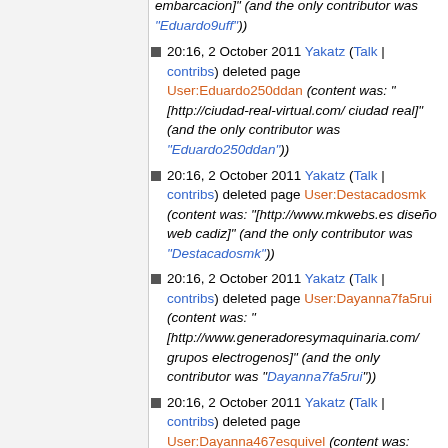20:16, 2 October 2011 Yakatz (Talk | contribs) deleted page User:Eduardo250ddan (content was: "[http://ciudad-real-virtual.com/ ciudad real]" (and the only contributor was "Eduardo250ddan"))
20:16, 2 October 2011 Yakatz (Talk | contribs) deleted page User:Destacadosmk (content was: "[http://www.mkwebs.es diseño web cadiz]" (and the only contributor was "Destacadosmk"))
20:16, 2 October 2011 Yakatz (Talk | contribs) deleted page User:Dayanna7fa5rui (content was: " [http://www.generadoresymaquinaria.com/ grupos electrogenos]" (and the only contributor was "Dayanna7fa5rui"))
20:16, 2 October 2011 Yakatz (Talk | contribs) deleted page User:Dayanna467esquivel (content was: "Estamos a tu servicio :